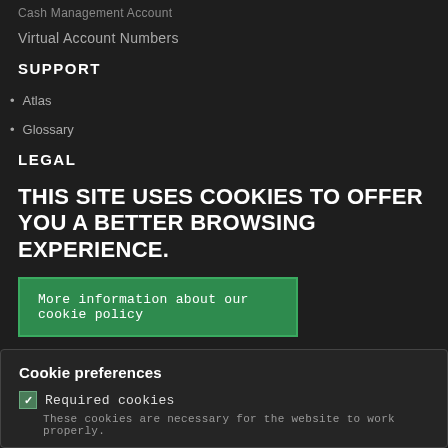Cash Management Account
Virtual Account Numbers
SUPPORT
Atlas
Glossary
LEGAL
THIS SITE USES COOKIES TO OFFER YOU A BETTER BROWSING EXPERIENCE.
More information about our cookie policy
Cookie preferences
Required cookies
These cookies are necessary for the website to work properly.